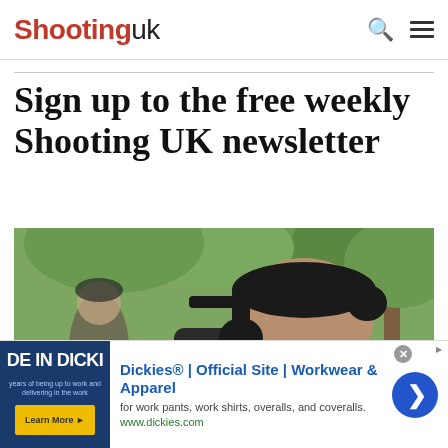Shooting uk
Sign up to the free weekly Shooting UK newsletter
[Figure (photo): Person wearing a black cap and black ear defenders/hearing protection, aiming a gun, with trees and another person in the background]
[Figure (other): Advertisement banner: Dickies® | Official Site | Workwear & Apparel - for work pants, work shirts, overalls, and coveralls. www.dickies.com. Shows Dickies product image on left and navigation arrow on right.]